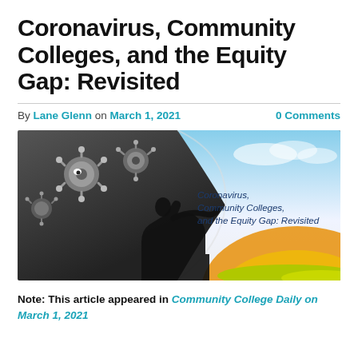Coronavirus, Community Colleges, and the Equity Gap: Revisited
By Lane Glenn on March 1, 2021    0 Comments
[Figure (illustration): Banner image showing a silhouette of a person peeling back a dark stormy background with coronavirus particles to reveal a bright sunny sky. Text overlay reads: Coronavirus, Community Colleges, and the Equity Gap: Revisited]
Note: This article appeared in Community College Daily on March 1, 2021